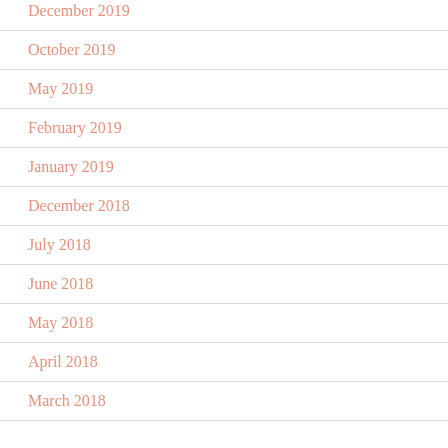December 2019
October 2019
May 2019
February 2019
January 2019
December 2018
July 2018
June 2018
May 2018
April 2018
March 2018